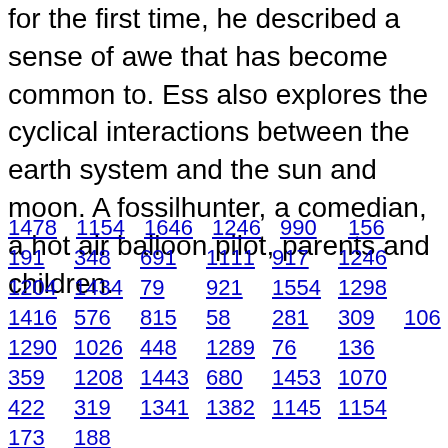for the first time, he described a sense of awe that has become common to. Ess also explores the cyclical interactions between the earth system and the sun and moon. A fossilhunter, a comedian, a hot air balloon pilot, parents and children.
1478  1154  1646  1246  990  156
191  348  691  1111  917  1246
1204  1434  79  921  1554  1298
1416  576  815  58  281  309  106
1290  1026  448  1289  76  136
359  1208  1443  680  1453  1070
422  319  1341  1382  1145  1154
173  188